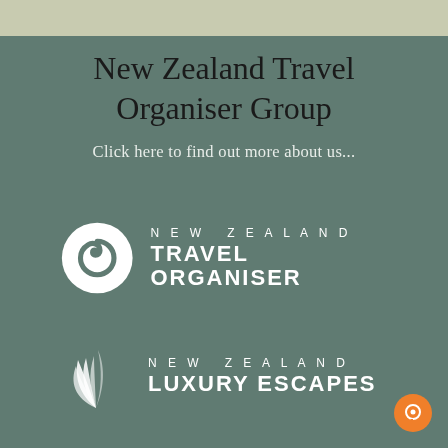New Zealand Travel Organiser Group
Click here to find out more about us...
[Figure (logo): New Zealand Travel Organiser logo with koru spiral symbol and text 'NEW ZEALAND TRAVEL ORGANISER']
[Figure (logo): New Zealand Luxury Escapes logo with feather/fern leaf symbol and text 'NEW ZEALAND LUXURY ESCAPES']